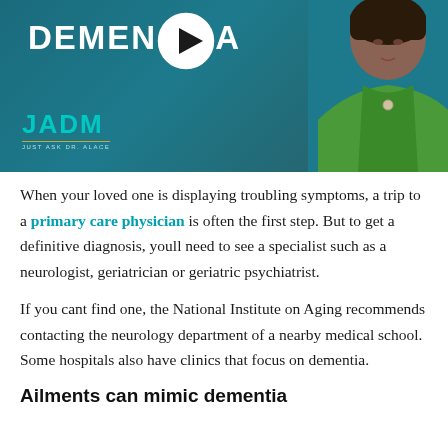[Figure (screenshot): Video thumbnail showing a woman in a green top against a teal background, with the word DEMENTIA in large white letters, a play button overlay in the center, and the JADM logo in the lower left.]
When your loved one is displaying troubling symptoms, a trip to a primary care physician is often the first step. But to get a definitive diagnosis, youll need to see a specialist such as a neurologist, geriatrician or geriatric psychiatrist.
If you cant find one, the National Institute on Aging recommends contacting the neurology department of a nearby medical school. Some hospitals also have clinics that focus on dementia.
Ailments can mimic dementia